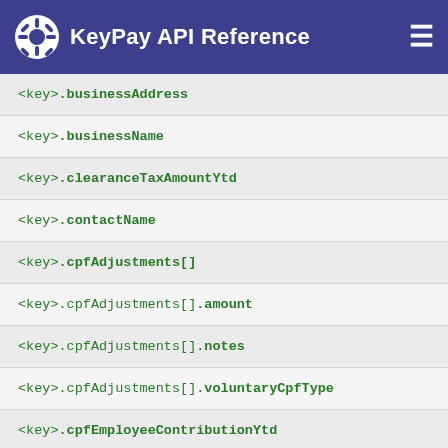KeyPay API Reference
<key>.businessAddress
<key>.businessName
<key>.clearanceTaxAmountYtd
<key>.contactName
<key>.cpfAdjustments[]
<key>.cpfAdjustments[].amount
<key>.cpfAdjustments[].notes
<key>.cpfAdjustments[].voluntaryCpfType
<key>.cpfEmployeeContributionYtd
<key>.cpfEmployerContributionYtd
<key>.deductions[]